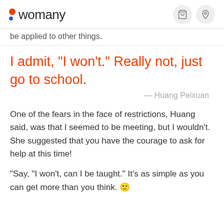womany
be applied to other things.
I admit, "I won't." Really not, just go to school.
— Huang Peixuan
One of the fears in the face of restrictions, Huang said, was that I seemed to be meeting, but I wouldn't. She suggested that you have the courage to ask for help at this time!
"Say, "I won't, can I be taught." It's as simple as you can get more than you think. 🙂